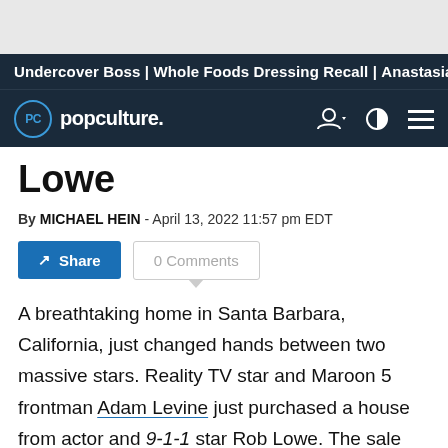Undercover Boss | Whole Foods Dressing Recall | Anastasia
[Figure (logo): PopCulture.com logo with navigation icons]
Lowe
By MICHAEL HEIN - April 13, 2022 11:57 pm EDT
A breathtaking home in Santa Barbara, California, just changed hands between two massive stars. Reality TV star and Maroon 5 frontman Adam Levine just purchased a house from actor and 9-1-1 star Rob Lowe. The sale made photos of the place public, so we can take a tour of it for ourselves thanks to TopTenRealEstateDeals.com.